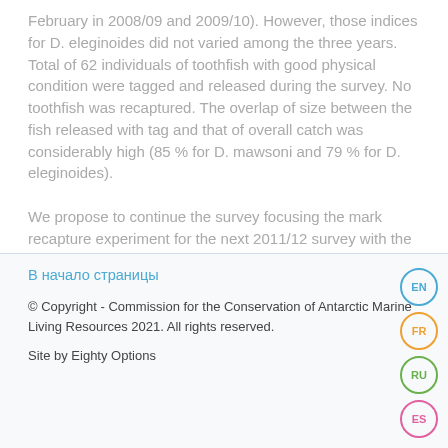February in 2008/09 and 2009/10). However, those indices for D. eleginoides did not varied among the three years. Total of 62 individuals of toothfish with good physical condition were tagged and released during the survey. No toothfish was recaptured. The overlap of size between the fish released with tag and that of overall catch was considerably high (85 % for D. mawsoni and 79 % for D. eleginoides). We propose to continue the survey focusing the mark recapture experiment for the next 2011/12 survey with the same designs as in the 2010/11.
В начало страницы
© Copyright - Commission for the Conservation of Antarctic Marine Living Resources 2021. All rights reserved.
Site by Eighty Options